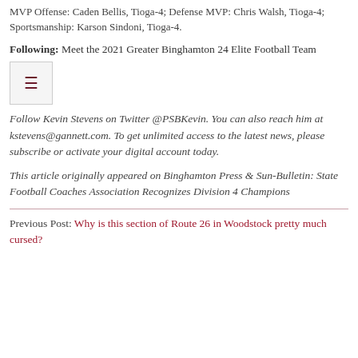MVP Offense: Caden Bellis, Tioga-4; Defense MVP: Chris Walsh, Tioga-4; Sportsmanship: Karson Sindoni, Tioga-4.
Following: Meet the 2021 Greater Binghamton 24 Elite Football Team
[Figure (other): Hamburger menu icon button with three horizontal lines in dark red on light gray background]
Follow Kevin Stevens on Twitter @PSBKevin. You can also reach him at kstevens@gannett.com. To get unlimited access to the latest news, please subscribe or activate your digital account today.
This article originally appeared on Binghamton Press & Sun-Bulletin: State Football Coaches Association Recognizes Division 4 Champions
Previous Post: Why is this section of Route 26 in Woodstock pretty much cursed?